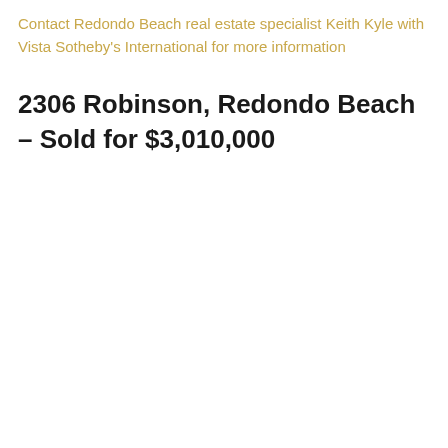Contact Redondo Beach real estate specialist Keith Kyle with Vista Sotheby's International for more information
2306 Robinson, Redondo Beach – Sold for $3,010,000